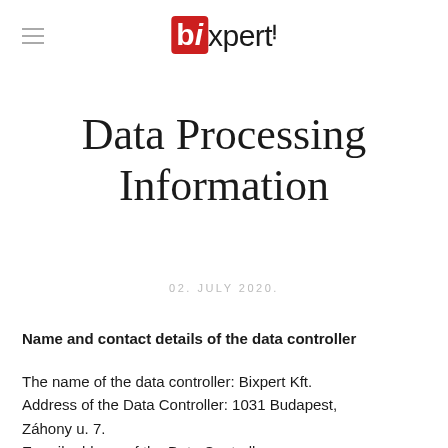bixpert
Data Processing Information
02. JULY 2020.
Name and contact details of the data controller
The name of the data controller: Bixpert Kft. Address of the Data Controller: 1031 Budapest, Záhony u. 7.
E-mail address of the Data Controller:
bixpert@bixpert.hu